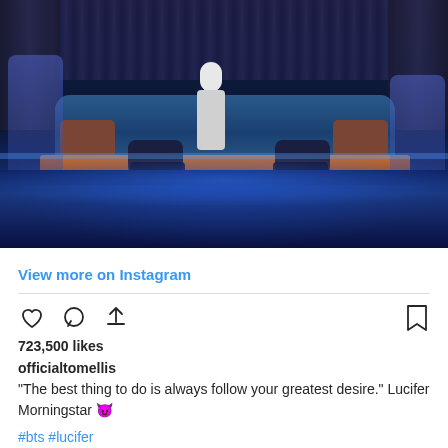[Figure (photo): Stage performance scene with a man in white jacket standing center on a raised platform with blue curved sofa behind him, two figures kneeling at his sides, and dancers on the far left and right. Blue lighting dominates the scene.]
View more on Instagram
723,500 likes
officialtomellis
"The best thing to do is always follow your greatest desire." Lucifer Morningstar 😈
#bts #lucifer
view all 3,153 comments